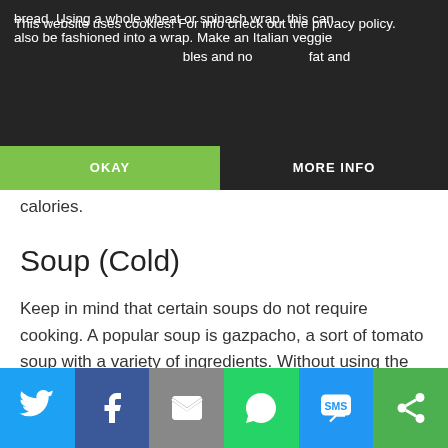This website uses cookies! For info check out the privacy policy. OKAY MORE INFO
bread. Using a whole wheat or spinach wrap, this can also be fashioned into a wrap. Make an Italian veggie bles and no fat and calories.
Soup (Cold)
Keep in mind that certain soups do not require cooking. A popular soup is gazpacho, a sort of tomato soup with a variety of ingredients. Without using the stove, you may cook a healthy Thai soup or a coconut curry soup.
[Figure (other): Gray advertisement or image placeholder block]
Social sharing bar: Twitter, Facebook, Email, WhatsApp, SMS, Share